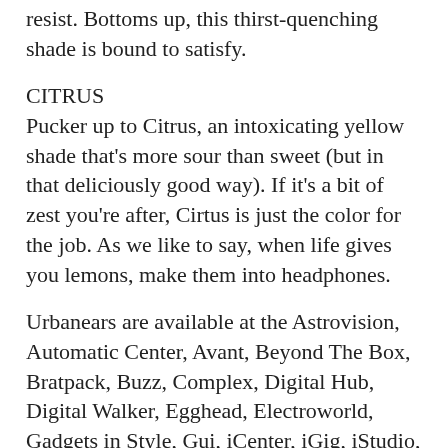resist. Bottoms up, this thirst-quenching shade is bound to satisfy.
CITRUS
Pucker up to Citrus, an intoxicating yellow shade that's more sour than sweet (but in that deliciously good way). If it's a bit of zest you're after, Cirtus is just the color for the job. As we like to say, when life gives you lemons, make them into headphones.
Urbanears are available at the Astrovision, Automatic Center, Avant, Beyond The Box, Bratpack, Buzz, Complex, Digital Hub, Digital Walker, Egghead, Electroworld, Gadgets in Style, Gui, iCenter, iGig, iStudio, Mobile 1, Power Hub, Power Mac Center, ROX, Switch, Technoholics, Toby's Arena and Urban Athletics.
For more information about the product, visit